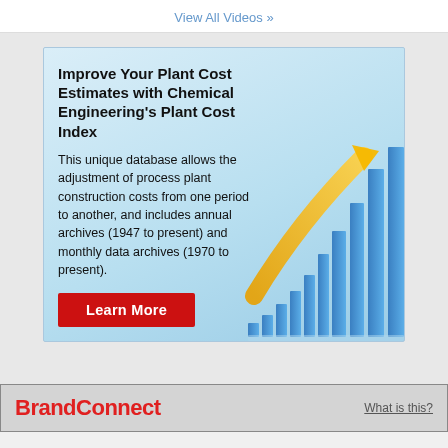View All Videos »
[Figure (infographic): Advertisement banner for Chemical Engineering's Plant Cost Index. Shows a blue gradient background with an upward-trending bar chart and orange arrow graphic on the right. Contains bold headline, descriptive text, and a red 'Learn More' button.]
BrandConnect
What is this?